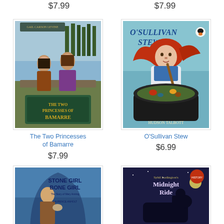$7.99
$7.99
[Figure (illustration): Book cover: The Two Princesses of Bamarre by Gail Carson Levine, showing two young women in medieval dress seated outdoors with castle in background]
[Figure (illustration): Book cover: O'Sullivan Stew by Hudson Talbott, showing a red-haired woman stirring a large cauldron full of creatures]
The Two Princesses of Bamarre
$7.99
O'Sullivan Stew
$6.99
[Figure (illustration): Book cover: Stone Girl Bone Girl - The Story of Mary Anning by Laurence Anholt]
[Figure (illustration): Book cover: Sybil Ludington's Midnight Ride]